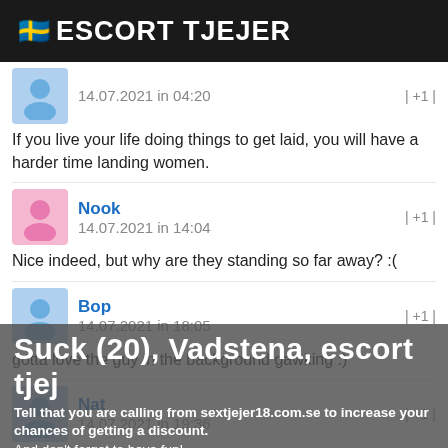🇸🇪 ESCORT TJEJER
14.07.2021 in 04:20   | +1 |
If you live your life doing things to get laid, you will have a harder time landing women.
Nook
14.07.2021 in 14:04   | +1 |
Nice indeed, but why are they standing so far away? :(
Bop
14.07.2021 in 18:05   | +1 |
gotta love the guy in the background gawking :)
Nat
14.07.2021 in 19:36   | +1 |
Suck (20), Vadstena, escort tjej
Tell that you are calling from sextjejer18.com.se to increase your chances of getting a discount.
And don't forget to have fun!
Swerving
15.07.2021 in 00:40   | +1 |